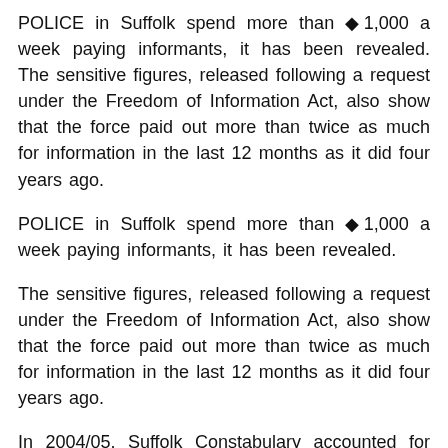POLICE in Suffolk spend more than ◆1,000 a week paying informants, it has been revealed. The sensitive figures, released following a request under the Freedom of Information Act, also show that the force paid out more than twice as much for information in the last 12 months as it did four years ago.
POLICE in Suffolk spend more than ◆1,000 a week paying informants, it has been revealed.
The sensitive figures, released following a request under the Freedom of Information Act, also show that the force paid out more than twice as much for information in the last 12 months as it did four years ago.
In 2004/05, Suffolk Constabulary accounted for 'source based intelligence' payments totaling ◆28,067, but by 2008/09, that figure had leapt to a staggering